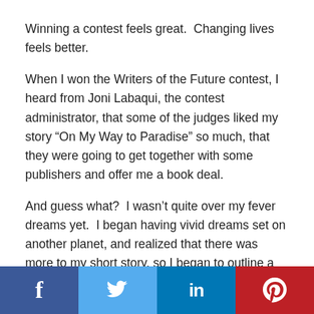Winning a contest feels great.  Changing lives feels better.
When I won the Writers of the Future contest, I heard from Joni Labaqui, the contest administrator, that some of the judges liked my story “On My Way to Paradise” so much, that they were going to get together with some publishers and offer me a book deal.
And guess what?  I wasn’t quite over my fever dreams yet.  I began having vivid dreams set on another planet, and realized that there was more to my short story, so I began to outline a novel, and prepared that for submission.
[Figure (infographic): Social media sharing bar with four buttons: Facebook (dark blue), Twitter (light blue), LinkedIn (medium blue), Pinterest (red), each showing the platform icon in white.]